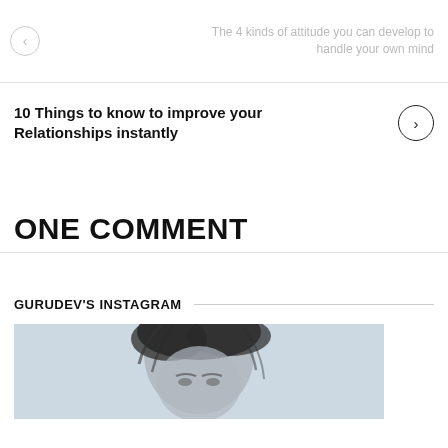The 4 kinds of attitude you can develop to handle your own mind
10 Things to know to improve your Relationships instantly
ONE COMMENT
GURUDEV'S INSTAGRAM
[Figure (photo): Black and white close-up photo of a person's head/hair against a light blue background, visible from mid-face upward]